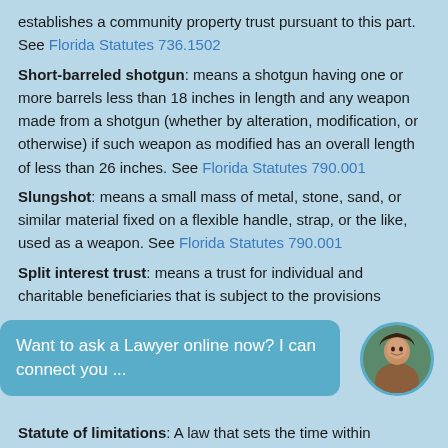establishes a community property trust pursuant to this part. See Florida Statutes 736.1502
Short-barreled shotgun: means a shotgun having one or more barrels less than 18 inches in length and any weapon made from a shotgun (whether by alteration, modification, or otherwise) if such weapon as modified has an overall length of less than 26 inches. See Florida Statutes 790.001
Slungshot: means a small mass of metal, stone, sand, or similar material fixed on a flexible handle, strap, or the like, used as a weapon. See Florida Statutes 790.001
Split interest trust: means a trust for individual and charitable beneficiaries that is subject to the provisions
Want to ask a Lawyer online now? I can connect you ...
Statute of limitations: A law that sets the time within